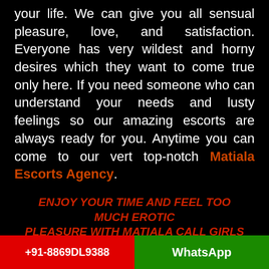your life. We can give you all sensual pleasure, love, and satisfaction. Everyone has very wildest and horny desires which they want to come true only here. If you need someone who can understand your needs and lusty feelings so our amazing escorts are always ready for you. Anytime you can come to our vert top-notch Matiala Escorts Agency.
ENJOY YOUR TIME AND FEEL TOO MUCH EROTIC PLEASURE WITH MATIALA CALL GIRLS SERVICE
Here we have mostly young girls soft chicks girls. Every girl has their own different
+91-8869DL9388   WhatsApp